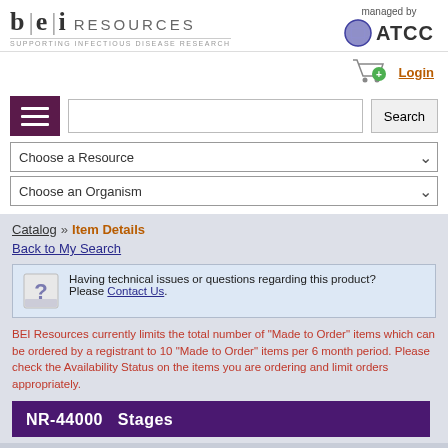BEI RESOURCES - managed by ATCC - SUPPORTING INFECTIOUS DISEASE RESEARCH
Login
[Figure (screenshot): Shopping cart icon with green plus button and hamburger menu icon on dark purple background]
Choose a Resource (dropdown)
Choose an Organism (dropdown)
Catalog » Item Details
Back to My Search
Having technical issues or questions regarding this product? Please Contact Us.
BEI Resources currently limits the total number of "Made to Order" items which can be ordered by a registrant to 10 "Made to Order" items per 6 month period. Please check the Availability Status on the items you are ordering and limit orders appropriately.
NR-44000   Stages